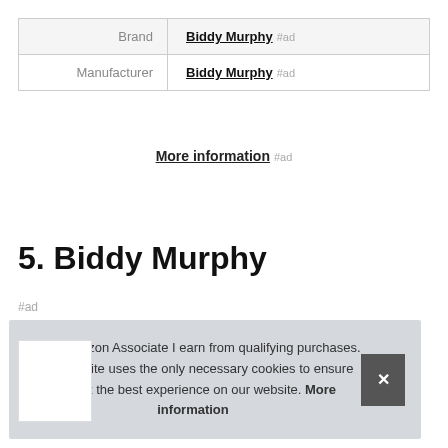| Brand | Biddy Murphy #ad |
| Manufacturer | Biddy Murphy #ad |
More information #ad
5. Biddy Murphy
#ad
As an Amazon Associate I earn from qualifying purchases. This website uses the only necessary cookies to ensure you get the best experience on our website. More information